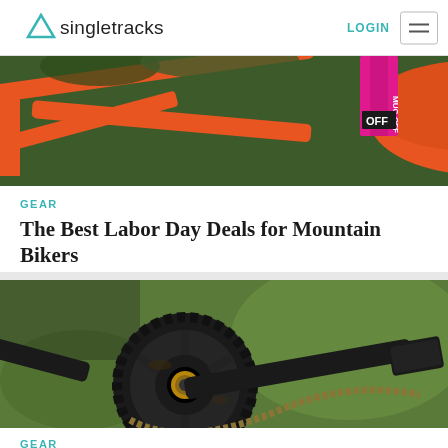Singletracks | LOGIN
[Figure (photo): Orange mountain bike frame and Smith helmet with Muc-Off product visible, close-up shot]
GEAR
The Best Labor Day Deals for Mountain Bikers
[Figure (photo): Close-up of mountain bike crankset and chainring with muddy chain, green blurred background]
GEAR